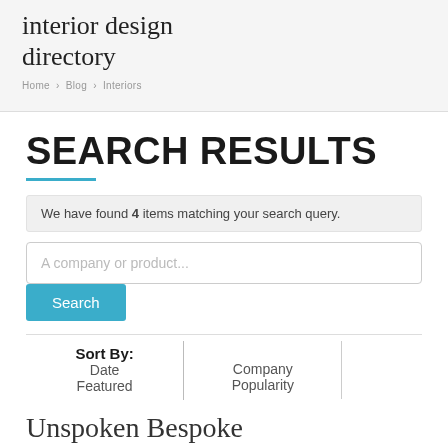interior design directory
Home · Blog · Interiors
SEARCH RESULTS
We have found 4 items matching your search query.
A company or product...
Search
Sort By: Date Featured | Company Popularity
Unspoken Bespoke